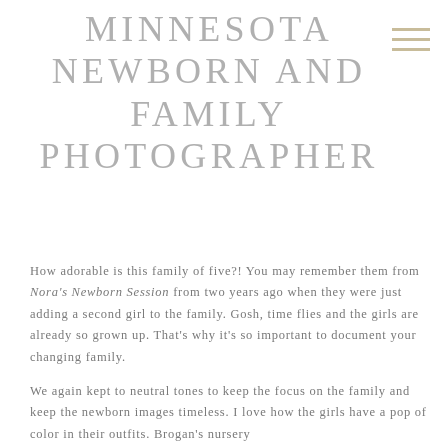MINNESOTA NEWBORN AND FAMILY PHOTOGRAPHER
How adorable is this family of five?!  You may remember them from Nora's Newborn Session from two years ago when they were just adding a second girl to the family.  Gosh, time flies and the girls are already so grown up.  That's why it's so important to document your changing family.
We again kept to neutral tones to keep the focus on the family and keep the newborn images timeless.  I love how the girls have a pop of color in their outfits.  Brogan's nursery